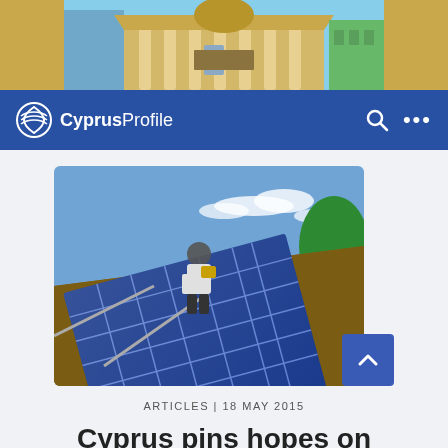[Figure (photo): Advertisement banner showing a classical building with columns and yellow/golden tones]
CyprusProfile
[Figure (photo): Worker installing solar panels on a rooftop, large blue solar panels visible, green trees in background, blue sky]
ARTICLES | 18 MAY 2015
Cyprus pins hopes on Australian solar technology